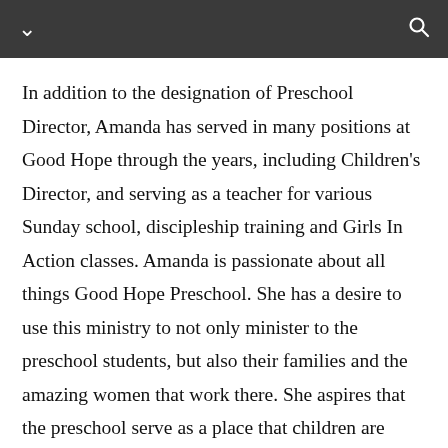In addition to the designation of Preschool Director, Amanda has served in many positions at Good Hope through the years, including Children's Director, and serving as a teacher for various Sunday school, discipleship training and Girls In Action classes. Amanda is passionate about all things Good Hope Preschool. She has a desire to use this ministry to not only minister to the preschool students, but also their families and the amazing women that work there. She aspires that the preschool serve as a place that children are shown the love of Christ and families can know that their children are loved and prayed for daily. Her background and education in school administration and her experience in church ministry has allowed her to key